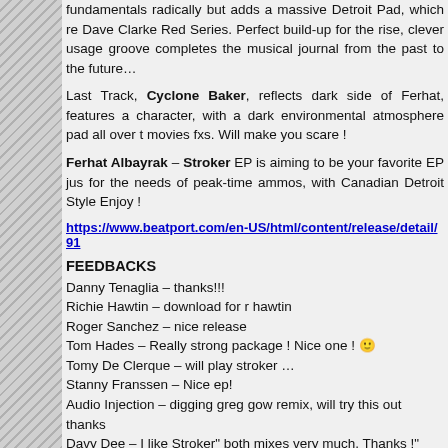fundamentals radically but adds a massive Detroit Pad, which resembles Dave Clarke Red Series. Perfect build-up for the rise, clever usage of groove completes the musical journal from the past to the future…
Last Track, Cyclone Baker, reflects dark side of Ferhat, features a character, with a dark environmental atmosphere pad all over the movies fxs. Will make you scare !
Ferhat Albayrak – Stroker EP is aiming to be your favorite EP just for the needs of peak-time ammos, with Canadian Detroit Style. Enjoy !
https://www.beatport.com/en-US/html/content/release/detail/91
FEEDBACKS
Danny Tenaglia – thanks!!!
Richie Hawtin – download for r hawtin
Roger Sanchez – nice release
Tom Hades – Really strong package ! Nice one ! 🙂
Tomy De Clerque – will play stroker …
Stanny Franssen – Nice ep!
Audio Injection – digging greg gow remix, will try this out thanks
Davy Dee – I like Stroker" both mixes very much. Thanks !"
Gennaro Le Fosse – Nice !
Steve Mulder – AWESOME release!! Full support on both mixes of
Monocraft – Downloaded, thanks!
Gabriel Ben – solid EP. Big tracks.
Ricardo Garduno – Great release! originals works for me! thanks!